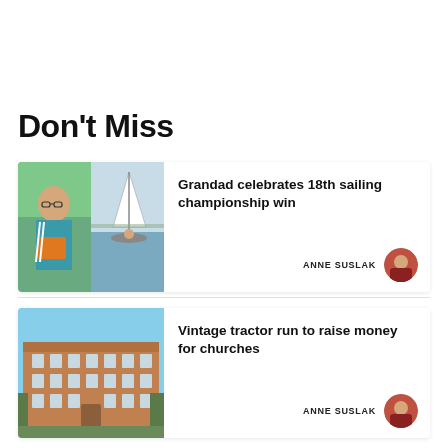Don't Miss
[Figure (photo): Two photos side by side: left shows an older man wearing glasses and a teal tracksuit holding an orange document; right shows a person sailing on a boat on a lake.]
Grandad celebrates 18th sailing championship win
ANNE SUSLAK
[Figure (photo): A photo of a large historic red-brick building (stately home or government building) under a blue sky.]
Vintage tractor run to raise money for churches
ANNE SUSLAK